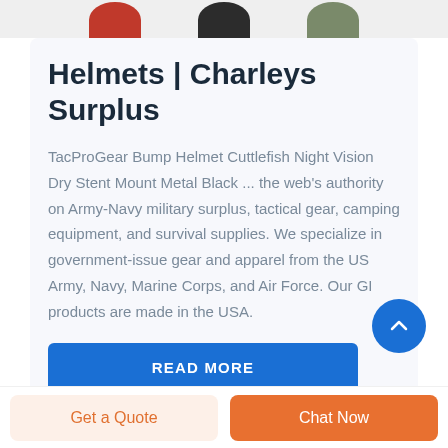[Figure (illustration): Three partial helmet product images cropped at the top: a red helmet, a black helmet, and an olive/gray helmet, shown from the bottom half against a light gray background.]
Helmets | Charleys Surplus
TacProGear Bump Helmet Cuttlefish Night Vision Dry Stent Mount Metal Black ... the web's authority on Army-Navy military surplus, tactical gear, camping equipment, and survival supplies. We specialize in government-issue gear and apparel from the US Army, Navy, Marine Corps, and Air Force. Our GI products are made in the USA.
[Figure (other): Blue 'READ MORE' button (partially visible at bottom of card)]
[Figure (other): Blue circular scroll-to-top button with upward chevron arrow]
Get a Quote
Chat Now